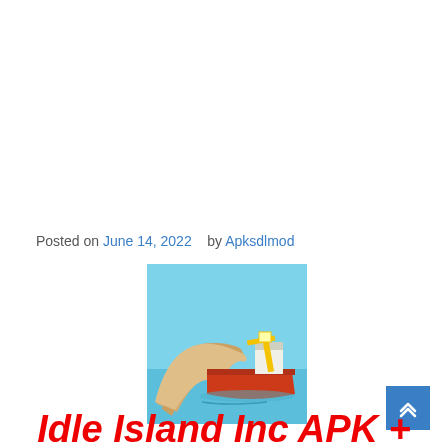Posted on June 14, 2022   by Apksdlmod
[Figure (illustration): A cartoon-style game icon showing an orange boat on blue water with a large stream of sand/material pouring out of it, and a yellow crane/structure on the boat deck.]
Idle Island Inc APK +